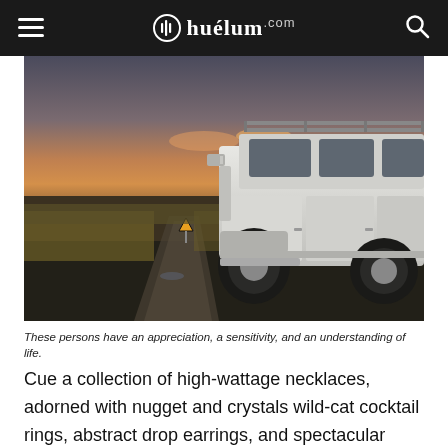huélum.com
[Figure (photo): A white Land Rover Defender 4x4 vehicle parked on a rugged gravel track in an open moorland landscape at sunset, with a roof rack on top. The sky shows orange and pink clouds at the horizon.]
These persons have an appreciation, a sensitivity, and an understanding of life.
Cue a collection of high-wattage necklaces, adorned with nugget and crystals wild-cat cocktail rings, abstract drop earrings, and spectacular statement chokers inspired by the flora and fauna of safari.